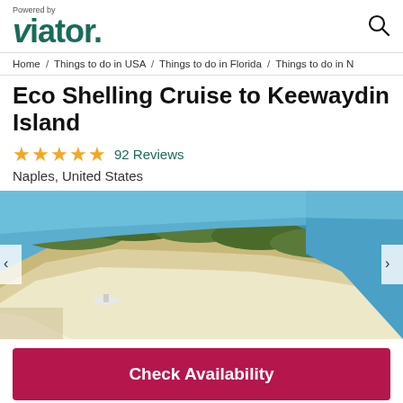Powered by viator.
Home / Things to do in USA / Things to do in Florida / Things to do in N
Eco Shelling Cruise to Keewaydin Island
★★★★★ 92 Reviews
Naples, United States
[Figure (photo): Aerial view of Keewaydin Island showing sandy beach, shallow blue-green water, vegetation, and a boat near shore.]
Check Availability